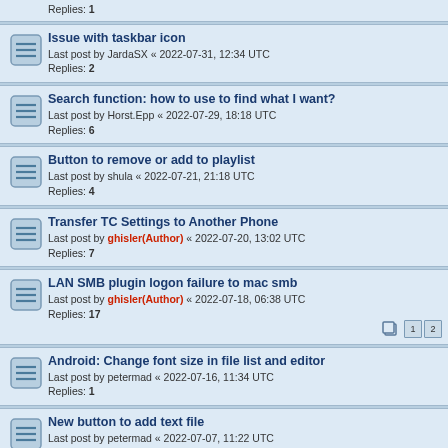Replies: 1
Issue with taskbar icon
Last post by JardaSX « 2022-07-31, 12:34 UTC
Replies: 2
Search function: how to use to find what I want?
Last post by Horst.Epp « 2022-07-29, 18:18 UTC
Replies: 6
Button to remove or add to playlist
Last post by shula « 2022-07-21, 21:18 UTC
Replies: 4
Transfer TC Settings to Another Phone
Last post by ghisler(Author) « 2022-07-20, 13:02 UTC
Replies: 7
LAN SMB plugin logon failure to mac smb
Last post by ghisler(Author) « 2022-07-18, 06:38 UTC
Replies: 17
Android: Change font size in file list and editor
Last post by petermad « 2022-07-16, 11:34 UTC
Replies: 1
New button to add text file
Last post by petermad « 2022-07-07, 11:22 UTC
Replies: 1
No ARMV8 64-bit architecture version for TC for Android?
Last post by ghisler(Author) « 2022-07-03, 07:55 UTC
Replies: 2
SFTP plugin: Don't ask for master pass?
Last post by ienne « 2022-07-01, 08:31 UTC